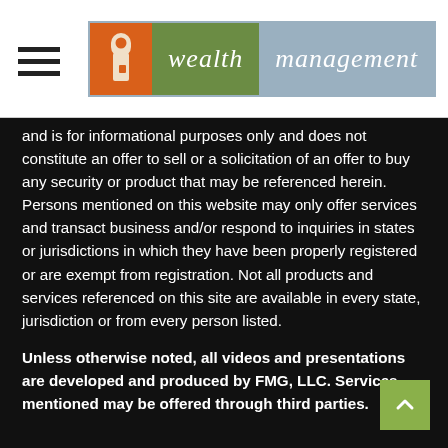[Figure (logo): Wealth Management logo with key icon, orange, green, and blue-grey color blocks]
and is for informational purposes only and does not constitute an offer to sell or a solicitation of an offer to buy any security or product that may be referenced herein. Persons mentioned on this website may only offer services and transact business and/or respond to inquiries in states or jurisdictions in which they have been properly registered or are exempt from registration. Not all products and services referenced on this site are available in every state, jurisdiction or from every person listed.
Unless otherwise noted, all videos and presentations are developed and produced by FMG, LLC. Services mentioned may be offered through third parties.